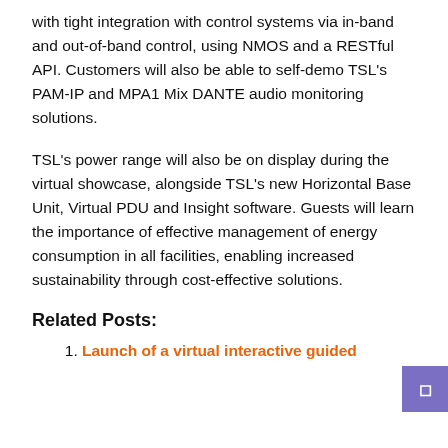with tight integration with control systems via in-band and out-of-band control, using NMOS and a RESTful API. Customers will also be able to self-demo TSL's PAM-IP and MPA1 Mix DANTE audio monitoring solutions.
TSL's power range will also be on display during the virtual showcase, alongside TSL's new Horizontal Base Unit, Virtual PDU and Insight software. Guests will learn the importance of effective management of energy consumption in all facilities, enabling increased sustainability through cost-effective solutions.
Related Posts:
Launch of a virtual interactive guided